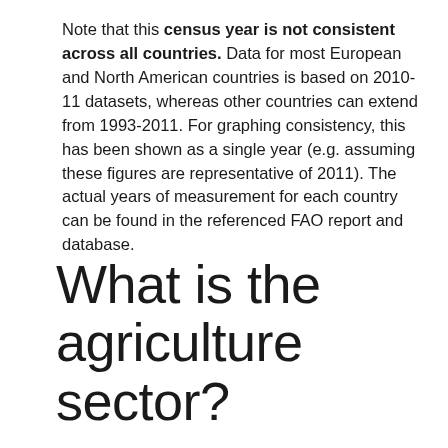Note that this census year is not consistent across all countries. Data for most European and North American countries is based on 2010-11 datasets, whereas other countries can extend from 1993-2011. For graphing consistency, this has been shown as a single year (e.g. assuming these figures are representative of 2011). The actual years of measurement for each country can be found in the referenced FAO report and database.
What is the agriculture sector?